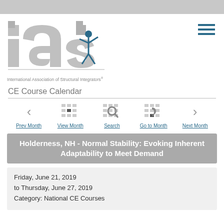[Figure (logo): IASI logo with grey letters 'iasi', a blue human figure, and tagline 'International Association of Structural Integrators®']
CE Course Calendar
[Figure (infographic): Calendar navigation bar with Prev Month, View Month, Search, Go to Month, Next Month icons and links]
Holderness, NH - Normal Stability: Evoking Inherent Adaptability to Meet Demand
Friday, June 21, 2019
to Thursday, June 27, 2019
Category: National CE Courses